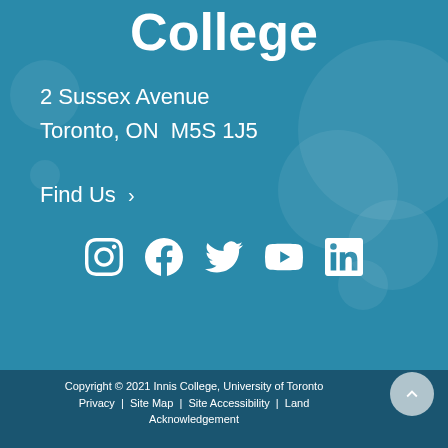College
2 Sussex Avenue
Toronto, ON  M5S 1J5
Find Us ›
[Figure (illustration): Social media icons: Instagram, Facebook, Twitter, YouTube, LinkedIn]
Copyright © 2021 Innis College, University of Toronto
Privacy | Site Map | Site Accessibility | Land Acknowledgement